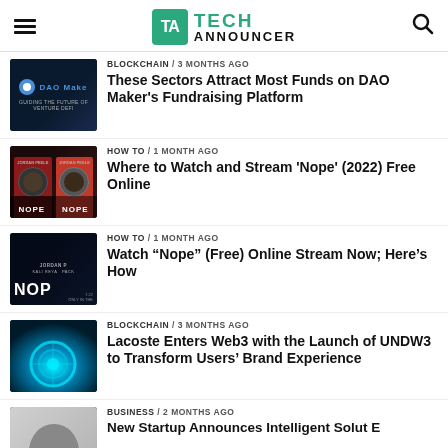TECH ANNOUNCER
BLOCKCHAIN / 3 months ago
These Sectors Attract Most Funds on DAO Maker's Fundraising Platform
HOW TO / 1 month ago
Where to Watch and Stream 'Nope' (2022) Free Online
HOW TO / 1 month ago
Watch “Nope” (Free) Online Stream Now; Here’s How
BLOCKCHAIN / 3 months ago
Lacoste Enters Web3 with the Launch of UNDW3 to Transform Users’ Brand Experience
BUSINESS / 2 months ago
New Startup...